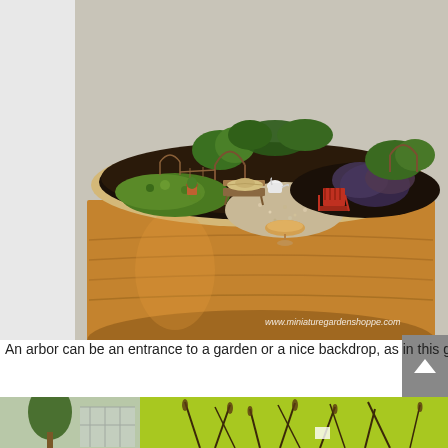[Figure (photo): A miniature fairy garden in a large round wooden container/pot. The garden contains tiny miniature accessories including a red Adirondack chair, a small wicker hat, a white watering can, small metal arched fences/arbors, a bird bath, and various plants including green moss, herbs, and dark-leafed plants. The soil is dark with white gravel path. Website watermark reads www.miniaturegardenshoppe.com]
An arbor can be an entrance to a garden or a nice backdrop, as in this garden. Note how the red chair echoes the red tones in the container.
[Figure (photo): Partial view of a second photo showing a bright yellow-green background (possibly a fabric or backdrop) with dark grass-like plant silhouettes, and on the left side a tree and what appears to be a greenhouse structure.]